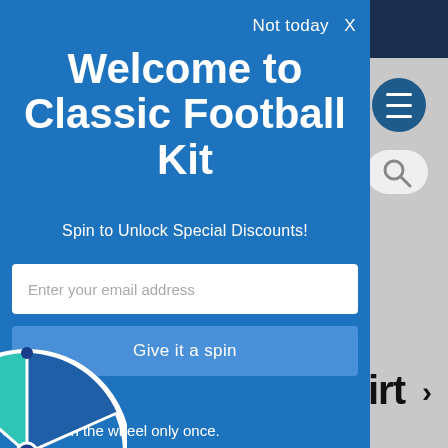[Figure (screenshot): Website background visible to the right of the modal, showing a dark navy top bar, a circular blue menu button with hamburger icon, a search button, and partial text 'irt' in black on grey background]
Not today  X
Welcome to Classic Football Kit
Spin to Unlock Special Discounts!
Enter your email address
Give it a spin
les
ou can spin the wheel only once.
you win, you can claim your coupon!
[Figure (illustration): Partial spin wheel visible at bottom-left corner, showing teal and blue segments with a white border and a blue center dot]